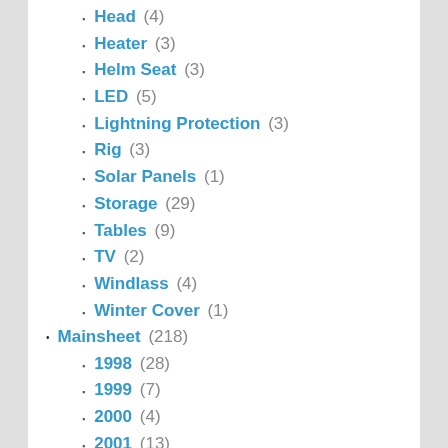Head (4)
Heater (3)
Helm Seat (3)
LED (5)
Lightning Protection (3)
Rig (3)
Solar Panels (1)
Storage (29)
Tables (9)
TV (2)
Windlass (4)
Winter Cover (1)
Mainsheet (218)
1998 (28)
1999 (7)
2000 (4)
2001 (13)
2002 (24)
2003 (18)
2004 (21)
2005 (18)